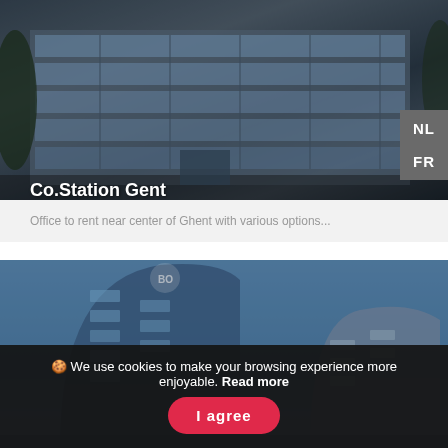[Figure (photo): Exterior photo of Co.Station Gent office building with glass facade and trees, dark/twilight atmosphere]
Co.Station Gent
9000, Gent
NL
FR
Office to rent near center of Ghent with various options...
[Figure (photo): Exterior photo of a modern curved glass office tower against blue sky]
🍪 We use cookies to make your browsing experience more enjoyable. Read more
I agree